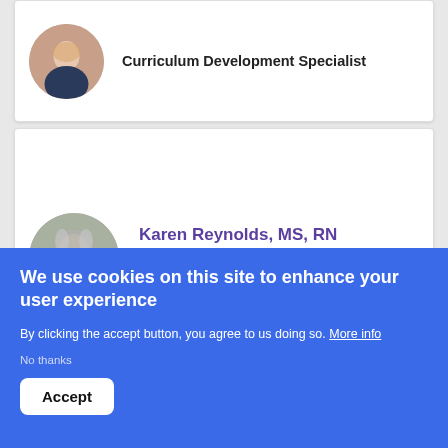Curriculum Development Specialist
[Figure (photo): Headshot of a woman with blonde hair in circular crop, partially visible at top of page]
Karen Reynolds, MS, RN
Research Instructor, Curriculum Development Specialist
[Figure (photo): Headshot of Karen Reynolds, an older woman with grey hair in circular crop]
[Figure (photo): Headshot partially visible at bottom card, circular crop]
We use cookies on this site to enhance your user experience
By clicking the accept button, you agree to us doing so. More info
No thanks
Accept